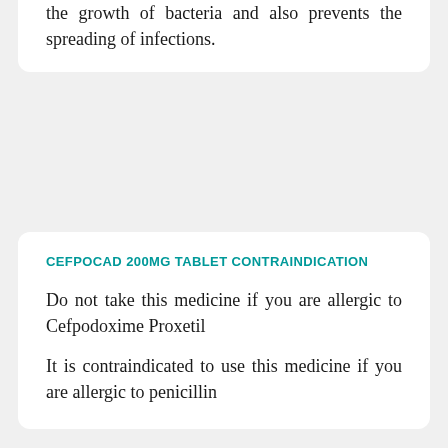the growth of bacteria and also prevents the spreading of infections.
CEFPOCAD 200MG TABLET CONTRAINDICATION
Do not take this medicine if you are allergic to Cefpodoxime Proxetil
It is contraindicated to use this medicine if you are allergic to penicillin
CEFPOCAD 200MG TABLET SIDE EFFECTS